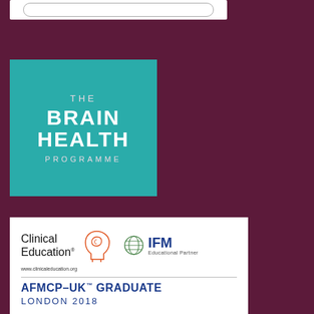[Figure (logo): Partial white box with rounded rectangle outline at top of page, partially cropped]
[Figure (logo): The Brain Health Programme logo: teal/turquoise square with white text reading THE BRAIN HEALTH PROGRAMME]
[Figure (logo): White certificate box containing Clinical Education logo with orange head silhouette, IFM Educational Partner logo, website www.clinicaleducation.org, horizontal divider, and text AFMCP-UK TM GRADUATE LONDON 2018]